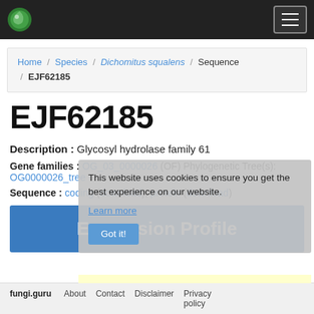fungi.guru navigation header with logo and hamburger menu
Home / Species / Dichomitus squalens / Sequence / EJF62185
EJF62185
Description : Glycosyl hydrolase family 61
Gene families : OG_03_0000026 (OF) Phylogenetic Tree(s): OG0000026_tree
Sequence : coding (download), protein (download)
Expression Profile
fungi.guru   About   Contact   Disclaimer   Privacy policy